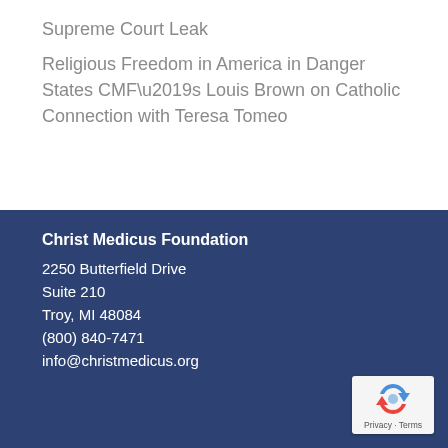Supreme Court Leak
Religious Freedom in America in Danger States CMF’s Louis Brown on Catholic Connection with Teresa Tomeo
Christ Medicus Foundation
2250 Butterfield Drive
Suite 210
Troy, MI 48084
(800) 840-7471
info@christmedicus.org